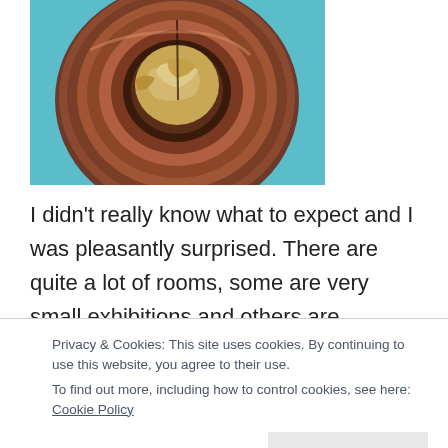[Figure (photo): A circular wooden bowl viewed from above, containing what appears to be crumpled paper or fabric, against a teal/blue background. The bowl has rich reddish-brown wood grain with dark and light concentric rings.]
I didn't really know what to expect and I was pleasantly surprised. There are quite a lot of rooms, some are very small exhibitions and others are significantly larger. I was impressed by the array of art – from paintings to jewellery and bowls to books. I was also impressed by how global the art was. I saw the works of some very well known artists including Monet. Van
Privacy & Cookies: This site uses cookies. By continuing to use this website, you agree to their use.
To find out more, including how to control cookies, see here: Cookie Policy
Close and accept